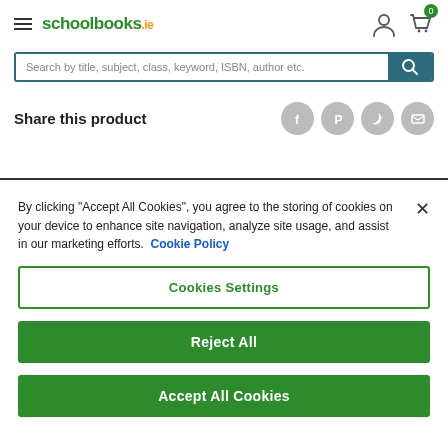schoolbooks.ie
Search by title, subject, class, keyword, ISBN, author etc.
Share this product
By clicking "Accept All Cookies", you agree to the storing of cookies on your device to enhance site navigation, analyze site usage, and assist in our marketing efforts. Cookie Policy
Cookies Settings
Reject All
Accept All Cookies